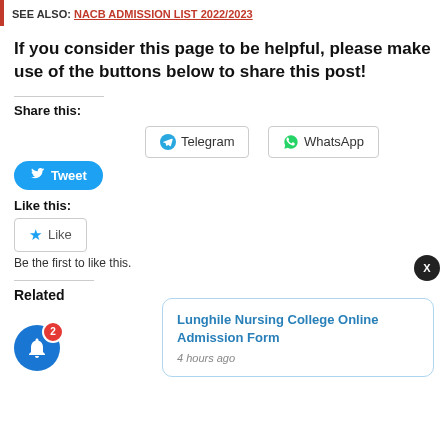See Also: NACB Admission List 2022/2023
If you consider this page to be helpful, please make use of the buttons below to share this post!
Share this:
[Figure (other): Tweet button (Twitter/X), Telegram button, WhatsApp button]
Like this:
[Figure (other): Like button with star icon]
Be the first to like this.
Related
[Figure (other): Blue notification bell icon with red badge showing 2]
Lunghile Nursing College Online Admission Form
4 hours ago